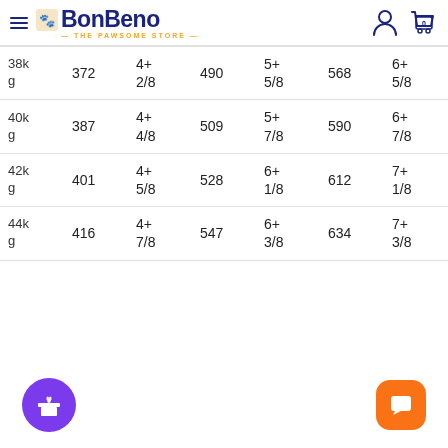BonBeno — THE PAWSOME STORE
| Weight | Col2 | Col3 | Col4 | Col5 | Col6 | Col7 |
| --- | --- | --- | --- | --- | --- | --- |
| 38kg | 372 | 4+ 2/8 | 490 | 5+ 5/8 | 568 | 6+ 5/8 |
| 40kg | 387 | 4+ 4/8 | 509 | 5+ 7/8 | 590 | 6+ 7/8 |
| 42kg | 401 | 4+ 5/8 | 528 | 6+ 1/8 | 612 | 7+ 1/8 |
| 44kg | 416 | 4+ 7/8 | 547 | 6+ 3/8 | 634 | 7+ 3/8 |